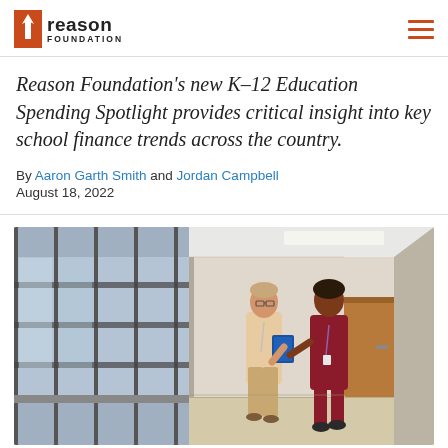Reason Foundation
Reason Foundation's new K–12 Education Spending Spotlight provides critical insight into key school finance trends across the country.
By Aaron Garth Smith and Jordan Campbell
August 18, 2022
[Figure (photo): Two professional women walking down a modern school hallway, one holding a blue binder, with large glass windows on the left side of the corridor.]